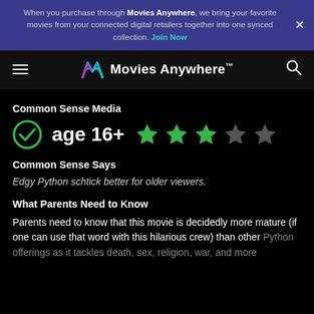When you purchase through Movies Anywhere, we bring your favorite movies from your connected digital retailers together into one synced collection. Join Now
Common Sense Media
[Figure (infographic): Age rating badge with green checkmark circle showing age 16+, followed by 3 filled green stars and 2 empty grey stars indicating a 3 out of 5 star rating.]
Common Sense Says
Edgy Python schtick better for older viewers.
What Parents Need to Know
Parents need to know that this movie is decidedly more mature (if one can use that word with this hilarious crew) than other Python offerings as it tackles death, sex, religion, war, and more